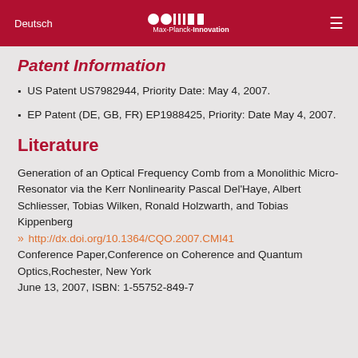Deutsch | Max-Planck-Innovation
Patent Information
US Patent US7982944, Priority Date: May 4, 2007.
EP Patent (DE, GB, FR) EP1988425, Priority: Date May 4, 2007.
Literature
Generation of an Optical Frequency Comb from a Monolithic Micro-Resonator via the Kerr Nonlinearity Pascal Del'Haye, Albert Schliesser, Tobias Wilken, Ronald Holzwarth, and Tobias Kippenberg
http://dx.doi.org/10.1364/CQO.2007.CMI41
Conference Paper,Conference on Coherence and Quantum Optics,Rochester, New York
June 13, 2007, ISBN: 1-55752-849-7